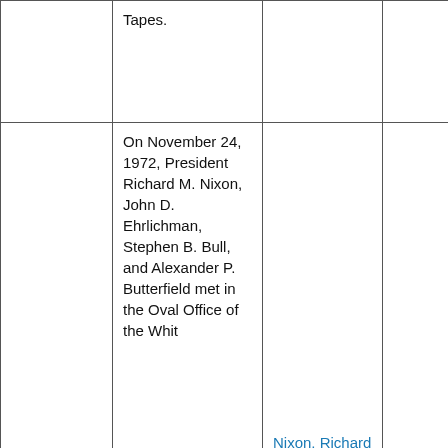|  | Tapes. |  |  |
|  | On November 24, 1972, President Richard M. Nixon, John D. Ehrlichman, Stephen B. Bull, and Alexander P. Butterfield met in the Oval Office of the Whit... | Nixon, Richard M. (President), |  |